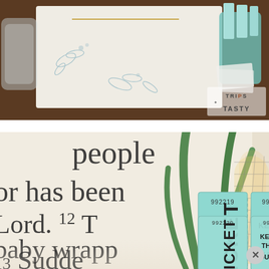[Figure (photo): Top photo: Table setting with decorative card featuring gold text and blue botanical illustrations, a glass jar, and teal ticket stubs in a cup. 'TRIPS TASTY' watermark in bottom right corner.]
[Figure (photo): Bottom photo: Close-up of open book or printed text showing words 'people', 'or has been', 'Lord. 12 T', 'baby wrapp', '13 Sudde', 'appe' partially visible. In foreground, two green raffle tickets numbered 992219 and 992220, each with 'TICKET' on left stub and 'KEEP THIS COUPON' on right stub. Background has tall green plant leaves and a glowing wire lantern.]